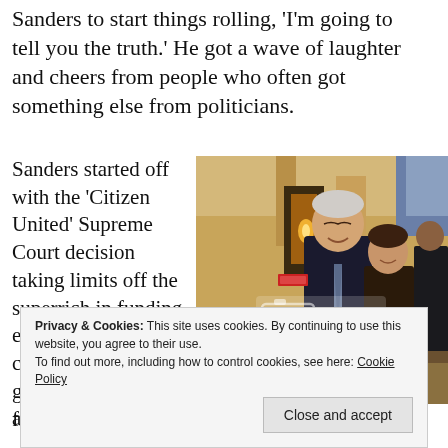Sanders to start things rolling, 'I'm going to tell you the truth.' He got a wave of laughter and cheers from people who often got something else from politicians.
Sanders started off with the 'Citizen United' Supreme Court decision taking limits off the superrich in funding elections and candidates. "It will go down is history as one of the worse
[Figure (photo): Photo of Bernie Sanders posing with a woman at what appears to be a formal event or dinner, with a Photobucket watermark overlay.]
five to your vote, it
Privacy & Cookies: This site uses cookies. By continuing to use this website, you agree to their use.
To find out more, including how to control cookies, see here: Cookie Policy
Close and accept